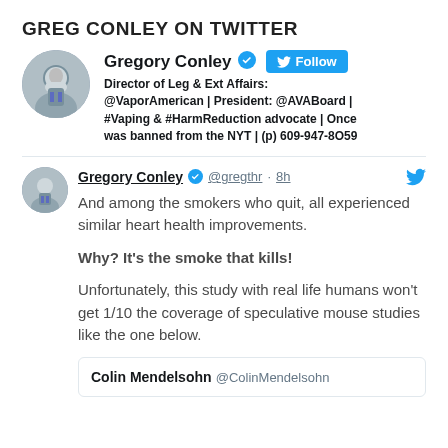GREG CONLEY ON TWITTER
Gregory Conley [verified] [Follow] Director of Leg & Ext Affairs: @VaporAmerican | President: @AVABoard | #Vaping & #HarmReduction advocate | Once was banned from the NYT | (p) 609-947-8O59
Gregory Conley [verified] @gregthr · 8h
And among the smokers who quit, all experienced similar heart health improvements.

Why? It's the smoke that kills!

Unfortunately, this study with real life humans won't get 1/10 the coverage of speculative mouse studies like the one below.
Colin Mendelsohn @ColinMendelsohn